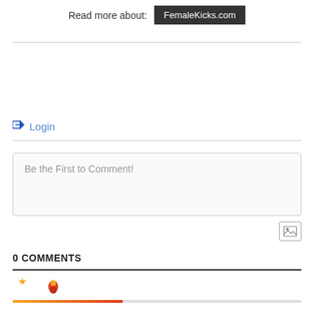Read more about:  FemaleKicks.com
Login
Be the First to Comment!
0 COMMENTS